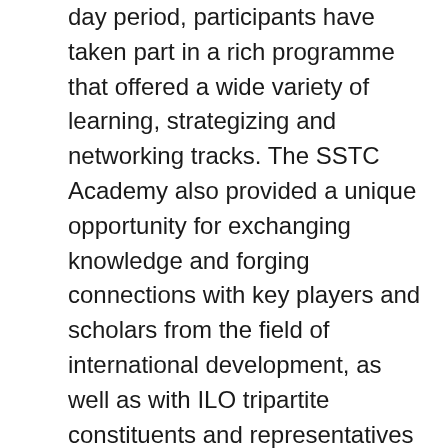day period, participants have taken part in a rich programme that offered a wide variety of learning, strategizing and networking tracks. The SSTC Academy also provided a unique opportunity for exchanging knowledge and forging connections with key players and scholars from the field of international development, as well as with ILO tripartite constituents and representatives from governments, international organizations and civil society. South-South and triangular cooperation (SSTC) has recently taken a particularly important role and became a trend in the worldwide debates and practices related to Development Cooperation, emphasizing on the following topics such as: